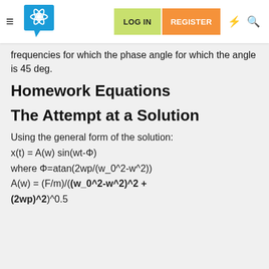LOG IN  REGISTER
frequencies for which the phase angle for which the angle is 45 deg.
Homework Equations
The Attempt at a Solution
Using the general form of the solution:
x(t) = A(w) sin(wt-Φ)
where Φ=atan(2wp/(w_0^2-w^2))
A(w) = (F/m)/((w_0^2-w^2)^2 + (2wp)^2)^0.5